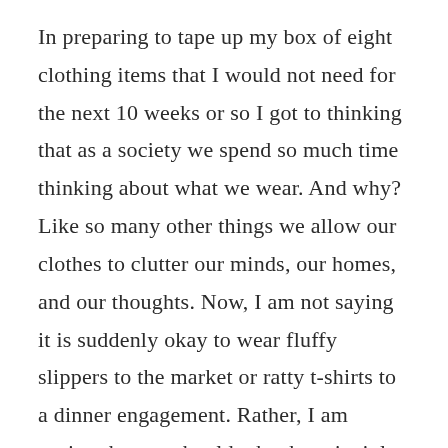In preparing to tape up my box of eight clothing items that I would not need for the next 10 weeks or so I got to thinking that as a society we spend so much time thinking about what we wear. And why? Like so many other things we allow our clothes to clutter our minds, our homes, and our thoughts. Now, I am not saying it is suddenly okay to wear fluffy slippers to the market or ratty t-shirts to a dinner engagement. Rather, I am saying that we should take the principles of minimalism and apply them to our closets and drawers.